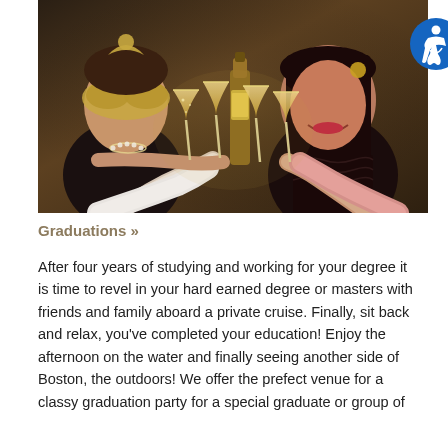[Figure (photo): People toasting with champagne glasses and beer bottle at a party, wearing masquerade masks and festive attire]
Graduations »
After four years of studying and working for your degree it is time to revel in your hard earned degree or masters with friends and family aboard a private cruise. Finally, sit back and relax, you've completed your education! Enjoy the afternoon on the water and finally seeing another side of Boston, the outdoors! We offer the prefect venue for a classy graduation party for a special graduate or group of